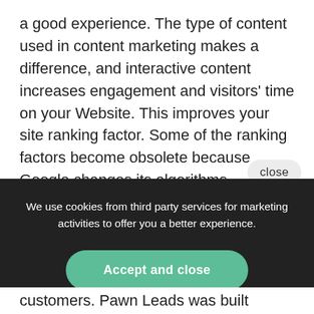a good experience. The type of content used in content marketing makes a difference, and interactive content increases engagement and visitors' time on your Website. This improves your site ranking factor. Some of the ranking factors become obsolete because Google changes its algorithms frequently.
close
We use cookies from third party services for marketing activities to offer you a better experience.
Accept and close
customers. Pawn Leads was built